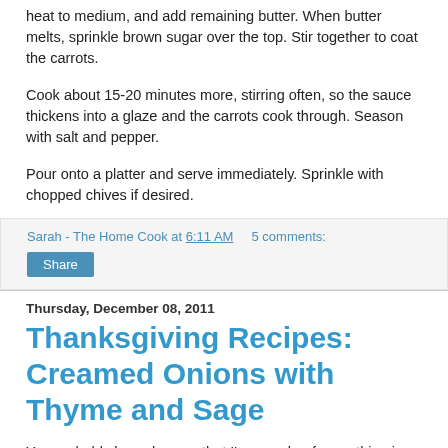heat to medium, and add remaining butter. When butter melts, sprinkle brown sugar over the top. Stir together to coat the carrots.
Cook about 15-20 minutes more, stirring often, so the sauce thickens into a glaze and the carrots cook through. Season with salt and pepper.
Pour onto a platter and serve immediately. Sprinkle with chopped chives if desired.
Sarah - The Home Cook at 6:11 AM    5 comments:
Share
Thursday, December 08, 2011
Thanksgiving Recipes: Creamed Onions with Thyme and Sage
You probably know by now that I'm a sucker for anything in a